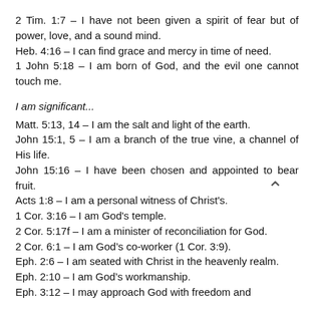2 Tim. 1:7 – I have not been given a spirit of fear but of power, love, and a sound mind.
Heb. 4:16 – I can find grace and mercy in time of need.
1 John 5:18 – I am born of God, and the evil one cannot touch me.
I am significant...
Matt. 5:13, 14 – I am the salt and light of the earth.
John 15:1, 5 – I am a branch of the true vine, a channel of His life.
John 15:16 – I have been chosen and appointed to bear fruit.
Acts 1:8 – I am a personal witness of Christ's.
1 Cor. 3:16 – I am God's temple.
2 Cor. 5:17f – I am a minister of reconciliation for God.
2 Cor. 6:1 – I am God's co-worker (1 Cor. 3:9).
Eph. 2:6 – I am seated with Christ in the heavenly realm.
Eph. 2:10 – I am God's workmanship.
Eph. 3:12 – I may approach God with freedom and…